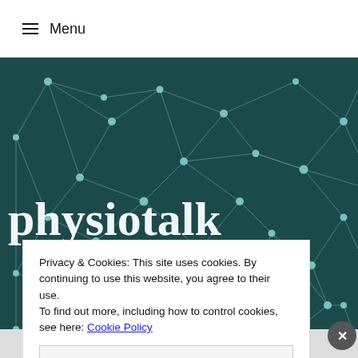≡ Menu
[Figure (illustration): Dark teal background with a network graph of interconnected nodes and lines, used as a hero/banner image for a website. Large white serif text 'physiotalk' partially visible at the bottom of the image. Partial text '...learn,' and '...rtnightly on' visible on the right side.]
Privacy & Cookies: This site uses cookies. By continuing to use this website, you agree to their use.
To find out more, including how to control cookies, see here: Cookie Policy
Close and accept
same page is easy. And free.